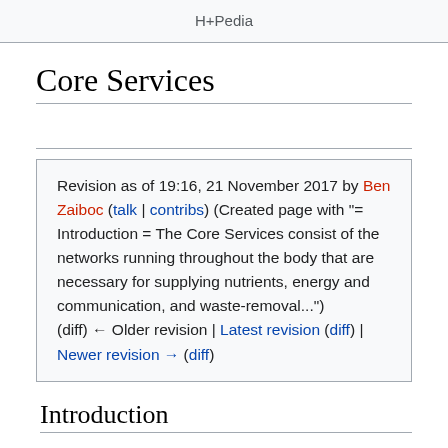H+Pedia
Core Services
Revision as of 19:16, 21 November 2017 by Ben Zaiboc (talk | contribs) (Created page with "= Introduction = The Core Services consist of the networks running throughout the body that are necessary for supplying nutrients, energy and communication, and waste-removal...") (diff) ← Older revision | Latest revision (diff) | Newer revision → (diff)
Introduction